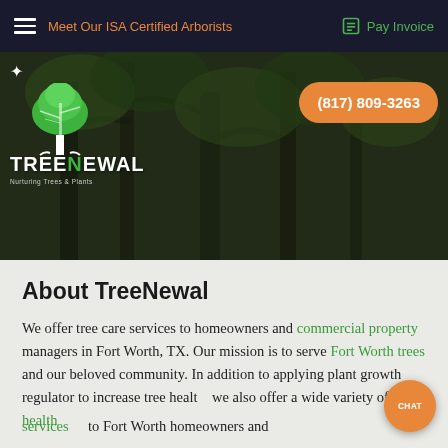Meet Our ISA Certified Arborists | Pay Invoice
[Figure (screenshot): TreeNewal logo with green tree icon and white text, plus star icon, on dark hero background with trees]
(817) 809-3263
About TreeNewal
We offer tree care services to homeowners and commercial property managers in Fort Worth, TX. Our mission is to serve Fort Worth trees and our beloved community. In addition to applying plant growth regulator to increase tree health, we also offer a wide variety of plant health services to Fort Worth homeowners and